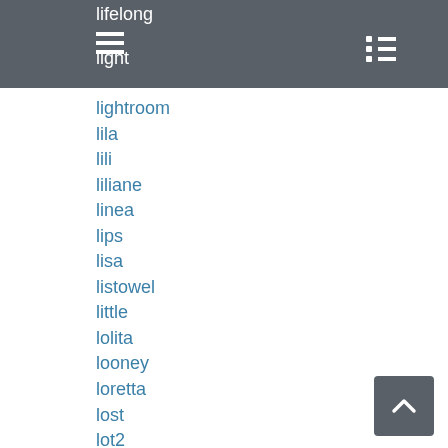lifelong
light
lightroom
lila
lili
liliane
linea
lips
lisa
listowel
little
lolita
looney
loretta
lost
lot2
lot50
louis
louise
louisiana
love
lucien